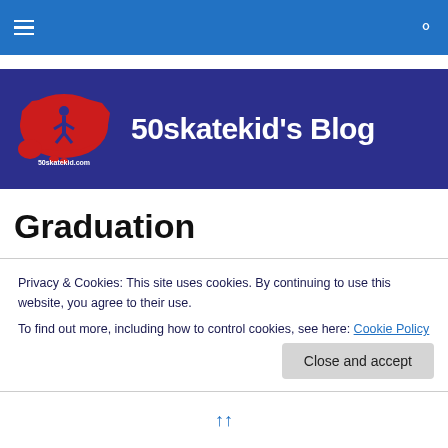Navigation bar with menu and search icons
[Figure (logo): 50skatekid's Blog site header banner with red USA map logo on dark navy/blue background and white bold text '50skatekid's Blog']
Graduation
Logan was the last member of his graduating class to walk across the stage, alphabetically. A few minutes later, I
Privacy & Cookies: This site uses cookies. By continuing to use this website, you agree to their use.
To find out more, including how to control cookies, see here: Cookie Policy
Close and accept